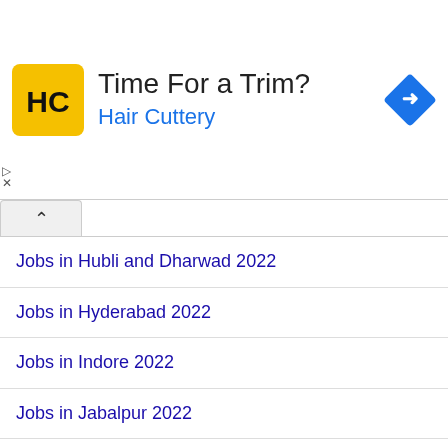[Figure (infographic): Advertisement banner for Hair Cuttery with logo, headline 'Time For a Trim?', subtext 'Hair Cuttery', and a blue navigation/directions icon on the right.]
Jobs in Hubli and Dharwad 2022
Jobs in Hyderabad 2022
Jobs in Indore 2022
Jobs in Jabalpur 2022
Jobs in Jaipur 2022
Jobs in Jalandhar 2022
Jobs in Jammu 2022
Jobs in Jamshedpur 2022
Jobs in Jhansi 2022